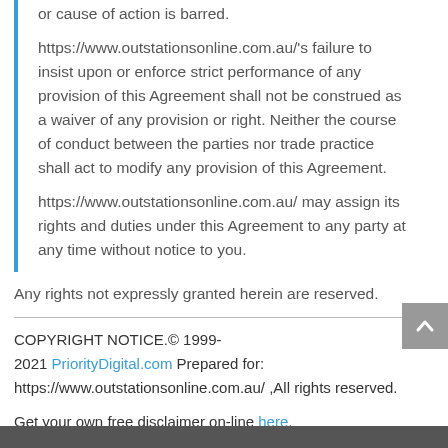or cause of action is barred. https://www.outstationsonline.com.au/'s failure to insist upon or enforce strict performance of any provision of this Agreement shall not be construed as a waiver of any provision or right. Neither the course of conduct between the parties nor trade practice shall act to modify any provision of this Agreement. https://www.outstationsonline.com.au/ may assign its rights and duties under this Agreement to any party at any time without notice to you.
Any rights not expressly granted herein are reserved.
COPYRIGHT NOTICE.© 1999-2021 PriorityDigital.com Prepared for: https://www.outstationsonline.com.au/ ,All rights reserved.
Get your own free disclaimer on-line here.